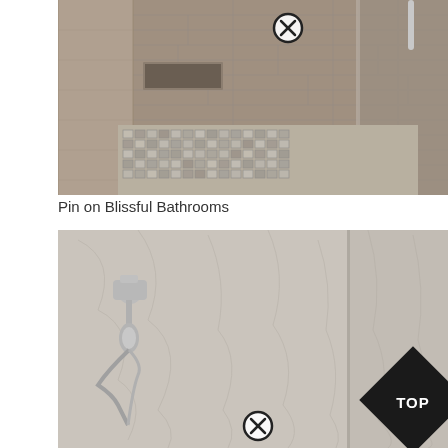[Figure (photo): Interior photo of a modern walk-in shower with gray horizontal tile walls, mosaic tile floor, built-in niche, and glass door with chrome hardware. A circular close/remove icon overlay is visible near the top center.]
Pin on Blissful Bathrooms
[Figure (photo): Interior photo of a shower with marble-look vertical tile walls, a handheld chrome shower head/valve on the left, a circular close/remove icon overlay near the bottom center, and a black diamond 'TOP' badge in the lower right corner.]